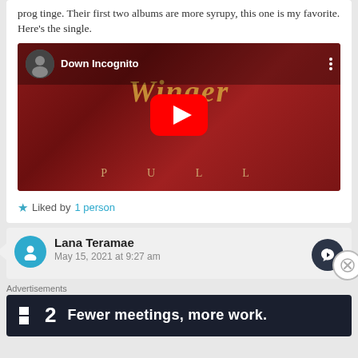prog tinge. Their first two albums are more syrupy, this one is my favorite. Here's the single.
[Figure (screenshot): YouTube video thumbnail for 'Down Incognito' by Winger, showing the album cover for 'Pull' with a red background and the Winger logo text. A red play button is centered on the thumbnail.]
★ Liked by 1 person
Lana Teramae
May 15, 2021 at 9:27 am
Advertisements
[Figure (screenshot): Advertisement banner with dark background showing a logo '2' and text 'Fewer meetings, more work.']